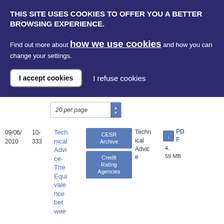THIS SITE USES COOKIES TO OFFER YOU A BETTER BROWSING EXPERIENCE.
Find out more about how we use cookies and how you can change your settings.
I accept cookies | I refuse cookies
20 per page
| Date | Ref | Title | Tags | Type | File |
| --- | --- | --- | --- | --- | --- |
| 09/06/2010 | 10-333 | Technical Advice- The Equivalence between | CESR Archive, Credit Rating Agencies | Technical Advice | PDF 4.59 MB |